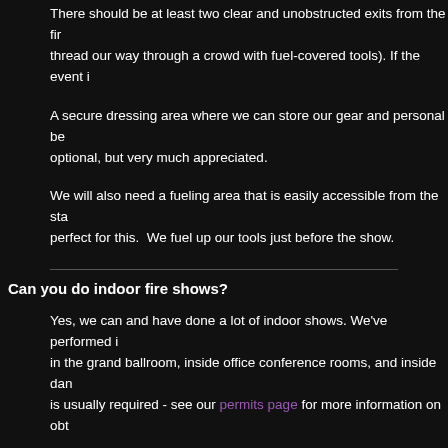There should be at least two clear and unobstructed exits from the fire thread our way through a crowd with fuel-covered tools). If the event i
A secure dressing area where we can store our gear and personal be optional, but very much appreciated.
We will also need a fueling area that is easily accessible from the sta perfect for this. We fuel up our tools just before the show.
Can you do indoor fire shows?
Yes, we can and have done a lot of indoor shows. We've performed in in the grand ballroom, inside office conference rooms, and inside dan is usually required - see our permits page for more information on obt
Do you have performer's insurance?
Yes. Fire Pixie is insured for up to $2MM per dancer through Specialty certificate of insurance listing your venue as additional insured for no
How dangerous is the fire show? Have you ever had an accident?
For fire dancing shows we always bring at least one dedicated and tra